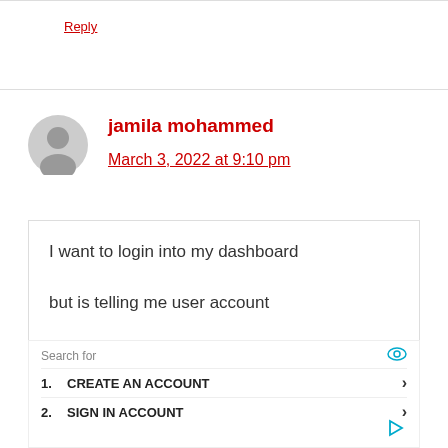Reply
jamila mohammed
March 3, 2022 at 9:10 pm
I want to login into my dashboard

but is telling me user account